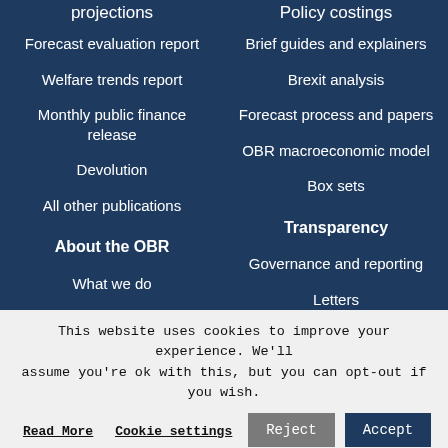projections
Forecast evaluation report
Welfare trends report
Monthly public finance release
Devolution
All other publications
About the OBR
What we do
Who we are
Policy costings
Brief guides and explainers
Brexit analysis
Forecast process and papers
OBR macroeconomic model
Box sets
Transparency
Governance and reporting
Letters
This website uses cookies to improve your experience. We'll assume you're ok with this, but you can opt-out if you wish.
Read More | Cookie settings | Reject | Accept